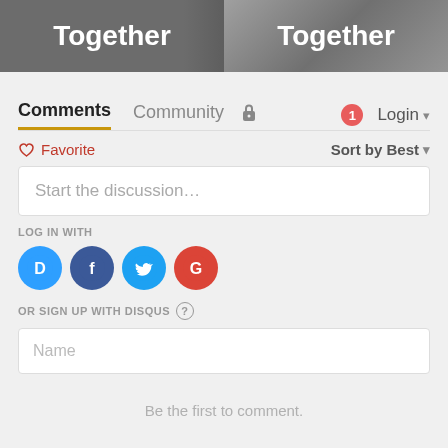[Figure (screenshot): Two banner images side by side, each showing the word 'Together' in white bold text on dark/gray backgrounds]
Comments  Community  🔒  1  Login
♡ Favorite  Sort by Best
Start the discussion…
LOG IN WITH
[Figure (logo): Social login icons: Disqus (D), Facebook (f), Twitter (bird), Google (G)]
OR SIGN UP WITH DISQUS ?
Name
Be the first to comment.